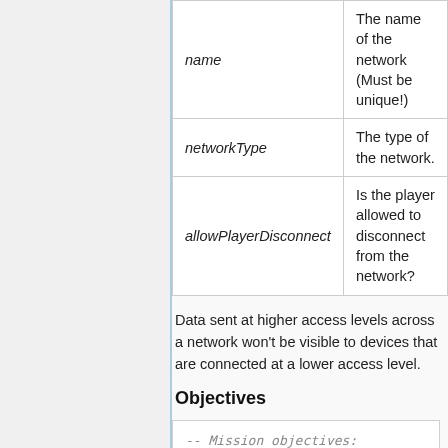| Parameter | Description |
| --- | --- |
| name | The name of the network (Must be unique!) |
| networkType | The type of the network. |
| allowPlayerDisconnect | Is the player allowed to disconnect from the network? |
Data sent at higher access levels across a network won't be visible to devices that are connected at a lower access level.
Objectives
-- Mission objectives:
    objectives = {